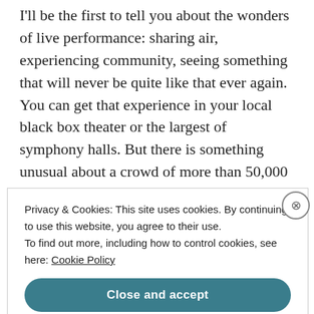I'll be the first to tell you about the wonders of live performance: sharing air, experiencing community, seeing something that will never be quite like that ever again. You can get that experience in your local black box theater or the largest of symphony halls. But there is something unusual about a crowd of more than 50,000 singing together. And it was magical when Bono, who had been conducting the crowd through “I Still Haven’t Found What I’m Looking For,” gently took the microphone back from us and began seguing into
Privacy & Cookies: This site uses cookies. By continuing to use this website, you agree to their use.
To find out more, including how to control cookies, see here: Cookie Policy
Close and accept